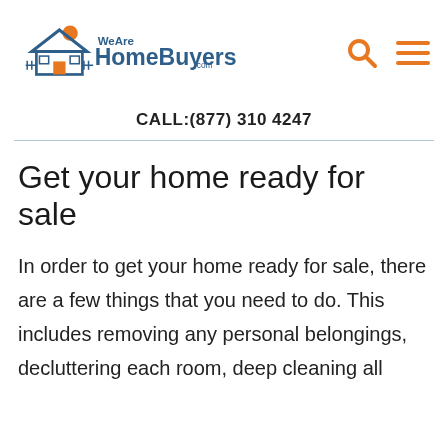[Figure (logo): WeAreHomeBuyers.com logo with house icon and orange sun, search icon and hamburger menu icon on right]
CALL:(877) 310 4247
Get your home ready for sale
In order to get your home ready for sale, there are a few things that you need to do. This includes removing any personal belongings, decluttering each room, deep cleaning all